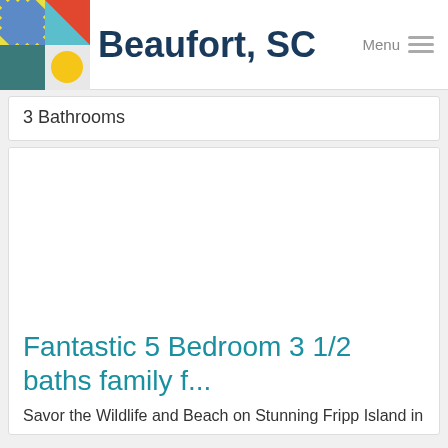Beaufort, SC
3 Bathrooms
[Figure (photo): White/blank listing photo area]
Fantastic 5 Bedroom 3 1/2 baths family f...
Savor the Wildlife and Beach on Stunning Fripp Island in